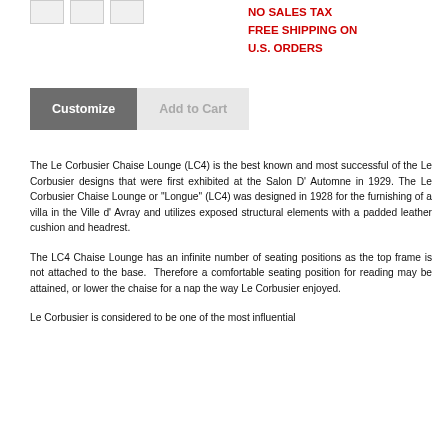[Figure (other): Three small thumbnail images in a row]
NO SALES TAX
FREE SHIPPING ON
U.S. ORDERS
Customize
Add to Cart
The Le Corbusier Chaise Lounge (LC4) is the best known and most successful of the Le Corbusier designs that were first exhibited at the Salon D' Automne in 1929. The Le Corbusier Chaise Lounge or "Longue" (LC4) was designed in 1928 for the furnishing of a villa in the Ville d' Avray and utilizes exposed structural elements with a padded leather cushion and headrest.
The LC4 Chaise Lounge has an infinite number of seating positions as the top frame is not attached to the base.  Therefore a comfortable seating position for reading may be attained, or lower the chaise for a nap the way Le Corbusier enjoyed.
Le Corbusier is considered to be one of the most influential